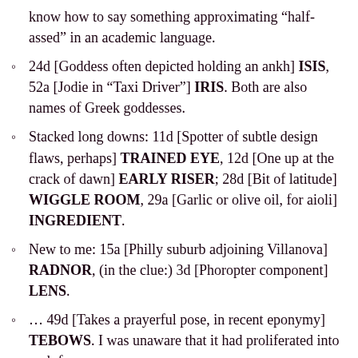know how to say something approximating “half-assed” in an academic language.
24d [Goddess often depicted holding an ankh] ISIS, 52a [Jodie in “Taxi Driver”] IRIS. Both are also names of Greek goddesses.
Stacked long downs: 11d [Spotter of subtle design flaws, perhaps] TRAINED EYE, 12d [One up at the crack of dawn] EARLY RISER; 28d [Bit of latitude] WIGGLE ROOM, 29a [Garlic or olive oil, for aioli] INGREDIENT.
New to me: 15a [Philly suburb adjoining Villanova] RADNOR, (in the clue:) 3d [Phoropter component] LENS.
… 49d [Takes a prayerful pose, in recent eponymy] TEBOWS. I was unaware that it had proliferated into verb form.